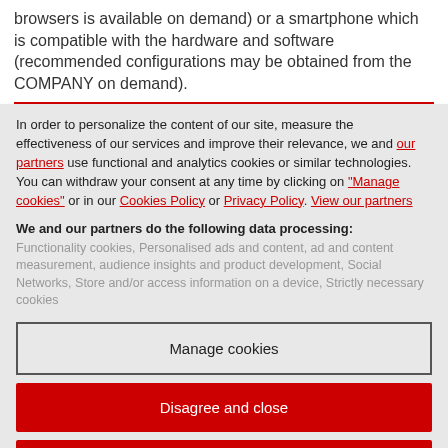browsers is available on demand) or a smartphone which is compatible with the hardware and software (recommended configurations may be obtained from the COMPANY on demand).
In order to personalize the content of our site, measure the effectiveness of our services and improve their relevance, we and our partners use functional and analytics cookies or similar technologies. You can withdraw your consent at any time by clicking on "Manage cookies" or in our Cookies Policy or Privacy Policy. View our partners
We and our partners do the following data processing:
Functionality cookies, Personalised ads and content, ad and content measurement, audience insights and product development, Social Networks, Store and/or access information on a device, Strictly necessary cookies